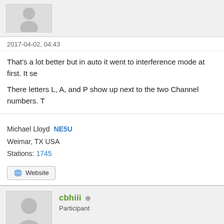[Figure (illustration): Default user avatar silhouette (top, partial)]
2017-04-02, 04:43
That's a lot better but in auto it went to interference mode at first. It se
There letters L, A, and P show up next to the two Channel numbers. T
Michael Lloyd  NE5U
Weimar, TX USA
Stations: 1745
[Figure (illustration): Website button with globe icon]
[Figure (illustration): Default user avatar silhouette for cbhiii]
cbhiii
Participant
2017-04-02, 12:47